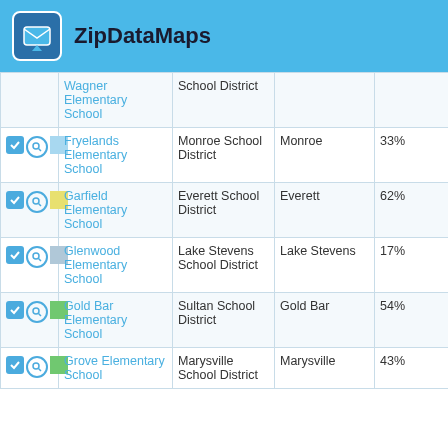ZipDataMaps
|  | School | District | City | % |
| --- | --- | --- | --- | --- |
|  | Wagner Elementary School | School District |  |  |
|  | Fryelands Elementary School | Monroe School District | Monroe | 33% |
|  | Garfield Elementary School | Everett School District | Everett | 62% |
|  | Glenwood Elementary School | Lake Stevens School District | Lake Stevens | 17% |
|  | Gold Bar Elementary School | Sultan School District | Gold Bar | 54% |
|  | Grove Elementary School | Marysville School District | Marysville | 43% |